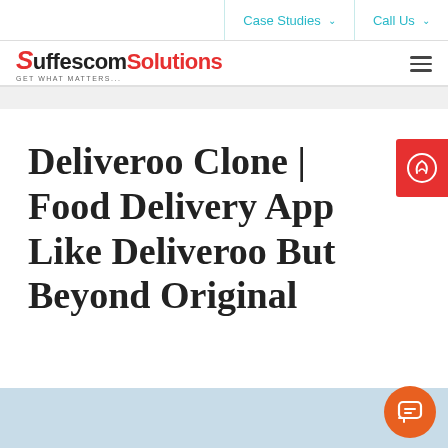Case Studies  ∨    Call Us  ∨
[Figure (logo): Suffescom Solutions logo with red S and red Solutions text, tagline GET WHAT MATTERS]
Deliveroo Clone | Food Delivery App Like Deliveroo But Beyond Original
[Figure (illustration): Red tab on right side with white leaf/food icon]
[Figure (illustration): Orange circular chat/message button in bottom right corner]